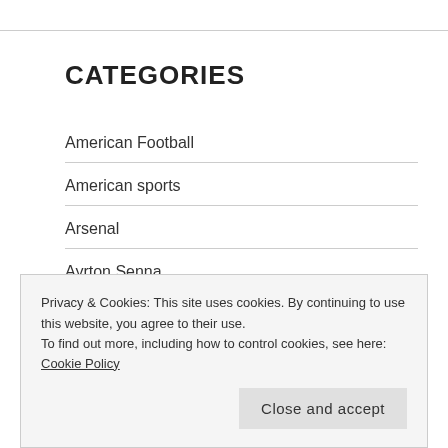CATEGORIES
American Football
American sports
Arsenal
Ayrton Senna
Bristol rovers
Castle Combe
Club racing
Privacy & Cookies: This site uses cookies. By continuing to use this website, you agree to their use.
To find out more, including how to control cookies, see here: Cookie Policy
Close and accept